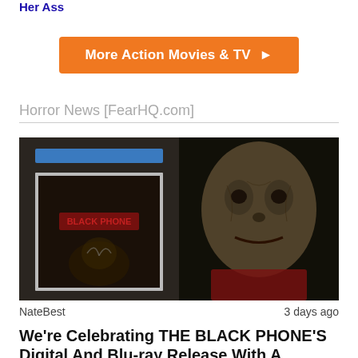Her Ass
More Action Movies & TV ▶
Horror News [FearHQ.com]
[Figure (photo): Composite horror image: left half shows a Blu-ray disc case with dark cover art featuring a distorted face and the text 'BLACK PHONE'; right half shows a close-up of a frightening masked figure with textured face against a dark background.]
NateBest                                     3 days ago
We're Celebrating THE BLACK PHONE'S Digital And Blu-ray Release With A Giveaway